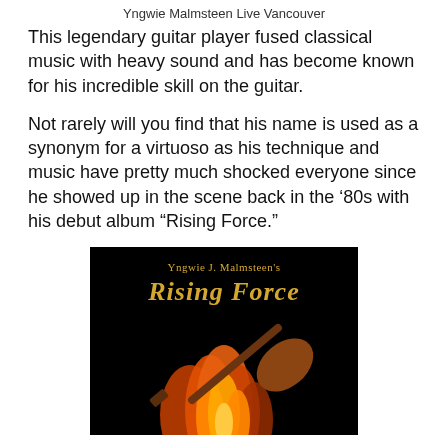Yngwie Malmsteen Live Vancouver
This legendary guitar player fused classical music with heavy sound and has become known for his incredible skill on the guitar.
Not rarely will you find that his name is used as a synonym for a virtuoso as his technique and music have pretty much shocked everyone since he showed up in the scene back in the ‘80s with his debut album “Rising Force.”
[Figure (photo): Album cover of Yngwie J. Malmsteen’s Rising Force, showing the title text in gold gothic font over a black background with flames and a guitar at the bottom.]